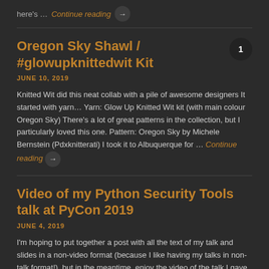here's … Continue reading →
Oregon Sky Shawl / #glowupknittedwit Kit
JUNE 10, 2019
Knitted Wit did this neat collab with a pile of awesome designers It started with yarn… Yarn: Glow Up Knitted Wit kit (with main colour Oregon Sky) There's a lot of great patterns in the collection, but I particularly loved this one. Pattern: Oregon Sky by Michele Bernstein (Pdxknitterati) I took it to Albuquerque for … Continue reading →
Video of my Python Security Tools talk at PyCon 2019
JUNE 4, 2019
I'm hoping to put together a post with all the text of my talk and slides in a non-video format (because I like having my talks in non-talk format!), but in the meantime, enjoy the video of the talk I gave at PyCon this year! The talk is on Python Security Tools, because I found … Continue reading →